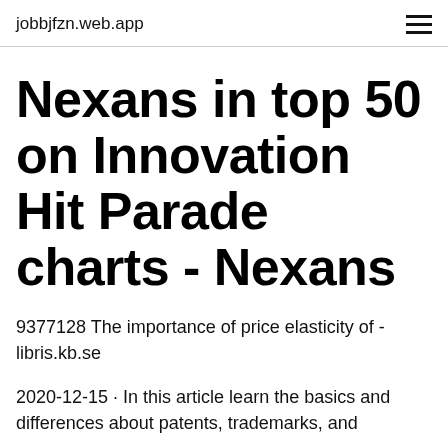jobbjfzn.web.app
Nexans in top 50 on Innovation Hit Parade charts - Nexans
9377128 The importance of price elasticity of - libris.kb.se
2020-12-15 · In this article learn the basics and differences about patents, trademarks, and